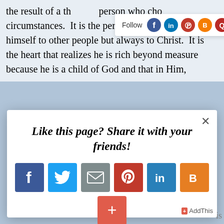the result of a th... person who cho... circumstances. It is the person who never compares himself to other people but always to Christ. It is the heart that realizes he is rich beyond measure because he is a child of God and that in Him,
[Figure (screenshot): Social follow bar with Facebook, LinkedIn, Pinterest, Blogger, Quora, Vimeo, Twitter, Instagram icons]
[Figure (screenshot): Share modal popup with title 'Like this page? Share it with your friends!' and social share buttons for Facebook, Twitter, Email, Pinterest, LinkedIn, Blogger, and a plus/more button. AddThis branding at bottom right.]